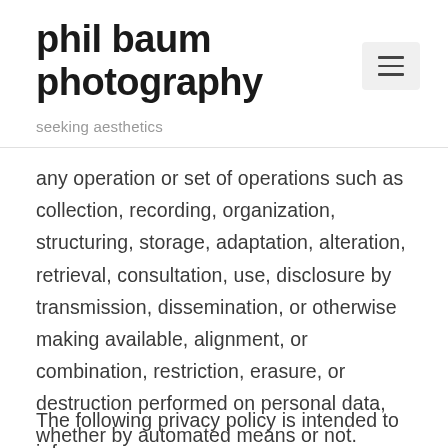phil baum photography
seeking aesthetics
any operation or set of operations such as collection, recording, organization, structuring, storage, adaptation, alteration, retrieval, consultation, use, disclosure by transmission, dissemination, or otherwise making available, alignment, or combination, restriction, erasure, or destruction performed on personal data, whether by automated means or not.
The following privacy policy is intended to inform